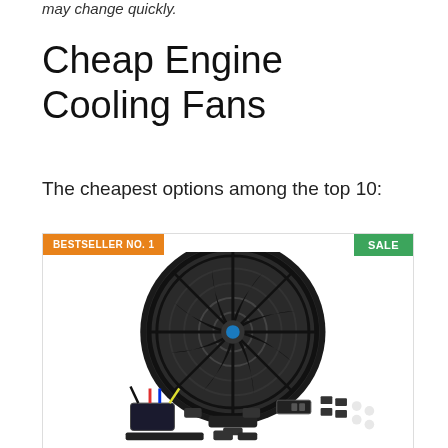may change quickly.
Cheap Engine Cooling Fans
The cheapest options among the top 10:
[Figure (photo): Product image of a black 16-inch electric engine cooling fan kit with wiring harness and mounting hardware. Badge: BESTSELLER NO. 1 (orange, top left), SALE (green, top right).]